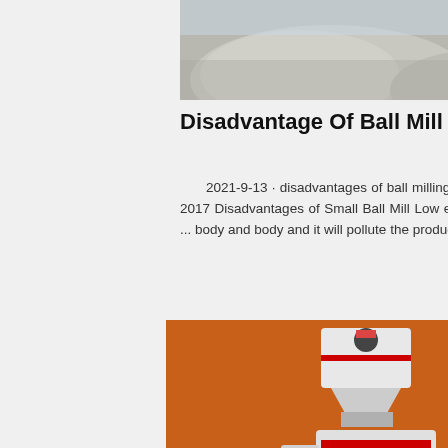[Figure (photo): Piles of crushed stone/gravel at a quarry or mining site, overhead view]
Disadvantage Of Ball Mill - Hnlfpsj Industry Company
2021-9-13 · disadvantages of ball milling. advantages and disadvantages of small ball m... 2017 Disadvantages of Small Ball Mill Low eff... large energy consumption high friction loss of ... body and body and it will pollute the product S... mill is widely used in hard. read more
Read More
[Figure (photo): Yellow mining/crushing machine equipment at a mining site with rocky terrain]
Disadvantages Of Ball Mill Machin... mining
[Figure (photo): Industrial advertisement sidebar showing crushing and grinding machines on orange background with Enjoy 3% discount and Click to Chat buttons, Enquiry section, and email limingjlmofen@sina.com]